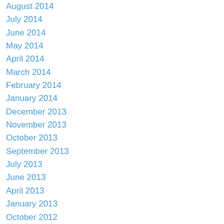August 2014
July 2014
June 2014
May 2014
April 2014
March 2014
February 2014
January 2014
December 2013
November 2013
October 2013
September 2013
July 2013
June 2013
April 2013
January 2013
October 2012
Categories
All
17 September